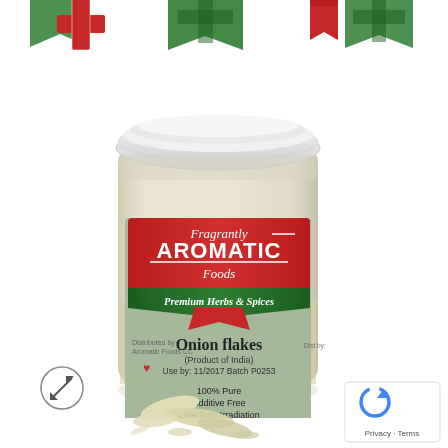[Figure (photo): A jar of Fragrantly Aromatic Foods Premium Herbs & Spices - Onion flakes (Product of India), Use by: 11/2017, Batch P0253, 100% Pure, Additive Free, Free from Irradiation. The jar has a white lid and a sage green label with a red brand banner. Decorative holiday ribbon banners appear at the top of the image. Onion flakes are scattered in front of the jar. A circular expand icon is in the bottom left. A reCAPTCHA Privacy/Terms box is in the bottom right.]